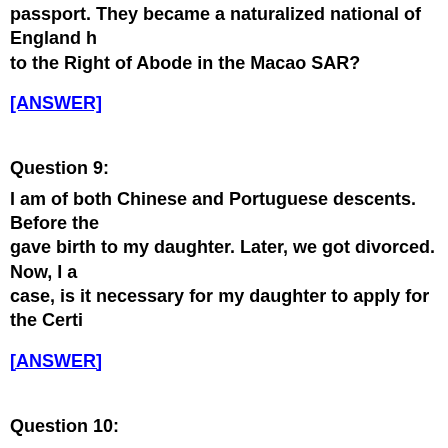passport. They became a naturalized national of England h to the Right of Abode in the Macao SAR?
[ANSWER]
Question 9:
I am of both Chinese and Portuguese descents. Before the gave birth to my daughter. Later, we got divorced. Now, I a case, is it necessary for my daughter to apply for the Certi
[ANSWER]
Question 10:
My husband and I are Macao permanent residents of Chi passports and I gave birth to my son there. However, my s Entitlement to the Right of Abode in the Macao SAR in or
[ANSWER]